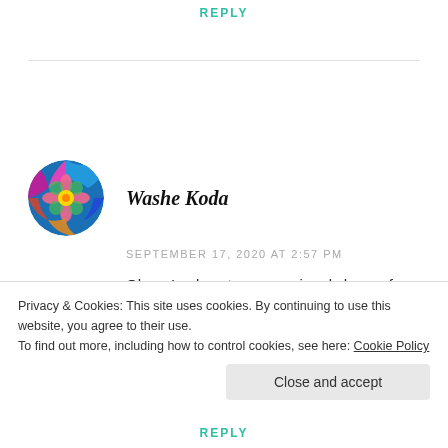REPLY
[Figure (illustration): Circular avatar image with colorful mandala-like pattern in blue, pink, yellow, green and red]
Washe Koda
SEPTEMBER 17, 2020 AT 2:57 PM
Oh no I only got pepperoni and cheese for my crackers
These berries look good I enjoy snapping them
Privacy & Cookies: This site uses cookies. By continuing to use this website, you agree to their use.
To find out more, including how to control cookies, see here: Cookie Policy
Close and accept
REPLY